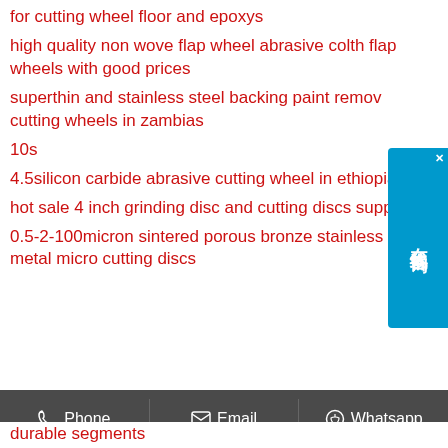for cutting wheel floor and epoxys
high quality non wove flap wheel abrasive colth flap wheels with good prices
superthin and stainless steel backing paint removal cutting wheels in zambias
10s
4.5silicon carbide abrasive cutting wheel in ethiopias
hot sale 4 inch grinding disc and cutting discs supplierss
0.5-2-100micron sintered porous bronze stainless steel metal micro cutting discs
[Figure (other): Chinese online chat widget overlay (在线咨询) with blue background and close button]
Phone   Email   Whatsapp
durable segments